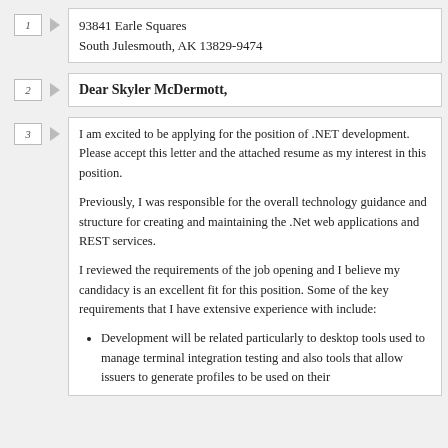93841 Earle Squares
South Julesmouth, AK 13829-9474
Dear Skyler McDermott,
I am excited to be applying for the position of .NET development. Please accept this letter and the attached resume as my interest in this position.

Previously, I was responsible for the overall technology guidance and structure for creating and maintaining the .Net web applications and REST services.

I reviewed the requirements of the job opening and I believe my candidacy is an excellent fit for this position. Some of the key requirements that I have extensive experience with include:
Development will be related particularly to desktop tools used to manage terminal integration testing and also tools that allow issuers to generate profiles to be used on their